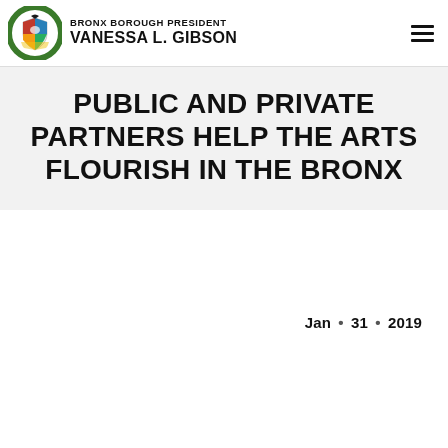BRONX BOROUGH PRESIDENT VANESSA L. GIBSON
PUBLIC AND PRIVATE PARTNERS HELP THE ARTS FLOURISH IN THE BRONX
Jan • 31 • 2019